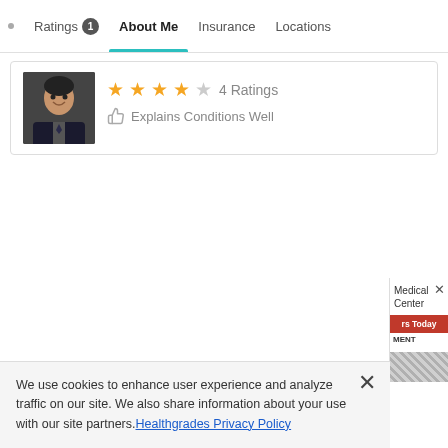Ratings 1  About Me  Insurance  Locations
[Figure (photo): Doctor profile photo - male doctor in dark jacket smiling]
4 Ratings
Explains Conditions Well
We use cookies to enhance user experience and analyze traffic on our site. We also share information about your use with our site partners. Healthgrades Privacy Policy
Medical Center
rs Today  MENT